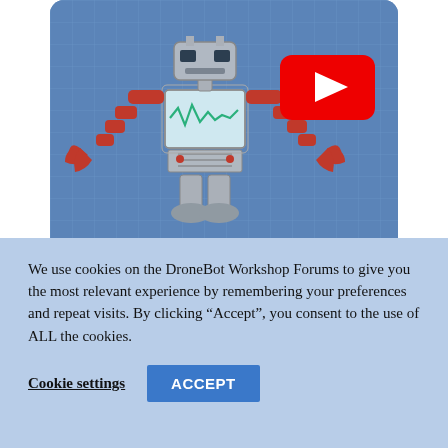[Figure (screenshot): Blue grid-patterned banner with a robot illustration (red arms and claws, grey body with screen showing waveform) on the left and a YouTube play button icon on the right]
Visit the Website
[Figure (screenshot): Blue grid-patterned banner with a joystick illustration (purple ball on red stem) partially visible]
We use cookies on the DroneBot Workshop Forums to give you the most relevant experience by remembering your preferences and repeat visits. By clicking “Accept”, you consent to the use of ALL the cookies.
Cookie settings
ACCEPT